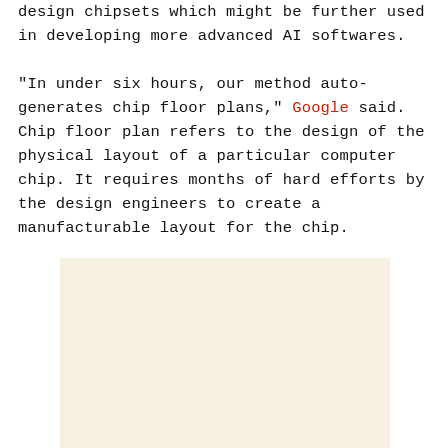design chipsets which might be further used in developing more advanced AI softwares.
"In under six hours, our method auto-generates chip floor plans," Google said. Chip floor plan refers to the design of the physical layout of a particular computer chip. It requires months of hard efforts by the design engineers to create a manufacturable layout for the chip.
[Figure (other): A beige/cream colored rectangular advertisement or image placeholder box.]